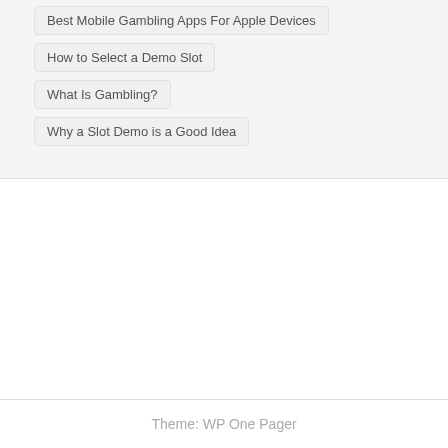Best Mobile Gambling Apps For Apple Devices
How to Select a Demo Slot
What Is Gambling?
Why a Slot Demo is a Good Idea
Theme: WP One Pager